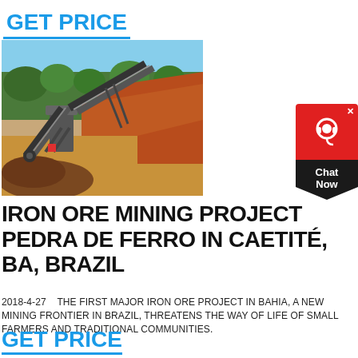GET PRICE
[Figure (photo): Mining site showing industrial conveyor belt and excavation equipment at an iron ore mine, with red/orange earth and green trees in the background, blue sky visible.]
[Figure (other): Chat Now widget with red top section containing a customer service headset icon, close button (x), and dark bottom section with 'Chat Now' text.]
IRON ORE MINING PROJECT PEDRA DE FERRO IN CAETITÉ, BA, BRAZIL
2018-4-27    THE FIRST MAJOR IRON ORE PROJECT IN BAHIA, A NEW MINING FRONTIER IN BRAZIL, THREATENS THE WAY OF LIFE OF SMALL FARMERS AND TRADITIONAL COMMUNITIES.
GET PRICE